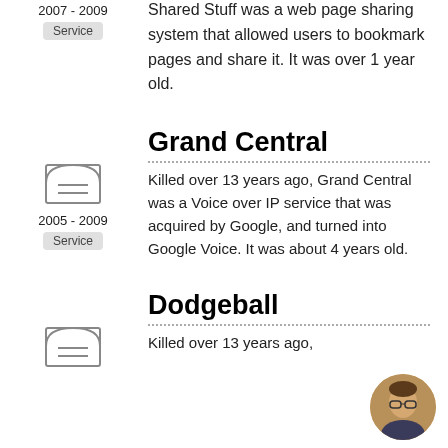[Figure (illustration): Tombstone icon for Shared Stuff (partially visible at top)]
2007 - 2009
Service
Shared Stuff was a web page sharing system that allowed users to bookmark pages and share it. It was over 1 year old.
[Figure (illustration): Tombstone icon for Grand Central]
2005 - 2009
Service
Grand Central
Killed over 13 years ago, Grand Central was a Voice over IP service that was acquired by Google, and turned into Google Voice. It was about 4 years old.
[Figure (illustration): Tombstone icon for Dodgeball]
Dodgeball
Killed over 13 years ago,
[Figure (photo): Circular avatar photo of a person wearing glasses]